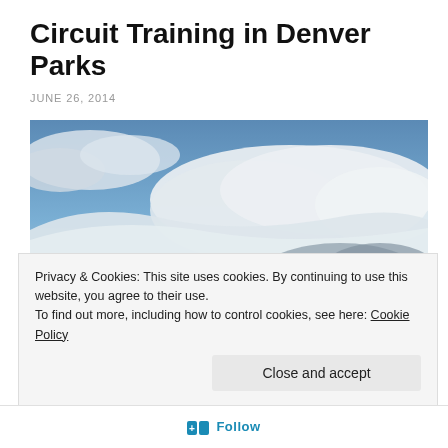Circuit Training in Denver Parks
JUNE 26, 2014
[Figure (photo): Outdoor sky photo with dramatic cloud formations — blue sky above with large white and dark storm clouds, likely taken in Denver. A small structure or tower is faintly visible at the bottom right.]
Privacy & Cookies: This site uses cookies. By continuing to use this website, you agree to their use.
To find out more, including how to control cookies, see here: Cookie Policy
Close and accept
+ Follow